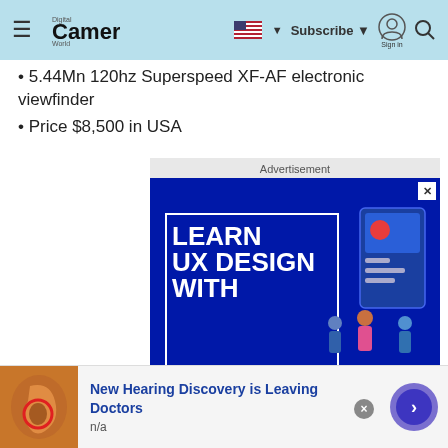Digital Camera World — Subscribe | Sign in
5.44Mn 120hz Superspeed XF-AF electronic viewfinder
Price $8,500 in USA
[Figure (screenshot): Advertisement banner: 'Learn UX Design With Creative Bloo' on dark blue background with illustrated characters and UI elements]
[Figure (infographic): Bottom ad: 'New Hearing Discovery is Leaving Doctors' with anatomical ear image, n/a label, and navigation arrow button]